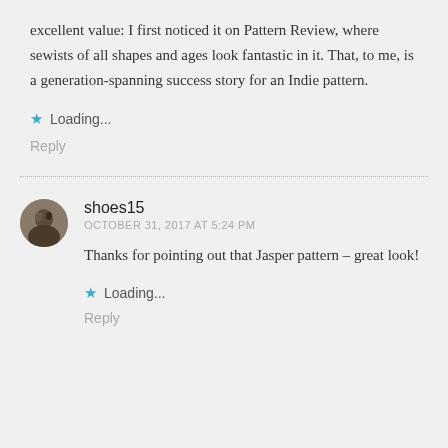excellent value: I first noticed it on Pattern Review, where sewists of all shapes and ages look fantastic in it. That, to me, is a generation-spanning success story for an Indie pattern.
Loading...
Reply
shoes15
OCTOBER 31, 2017 AT 5:24 PM
Thanks for pointing out that Jasper pattern – great look!
Loading...
Reply